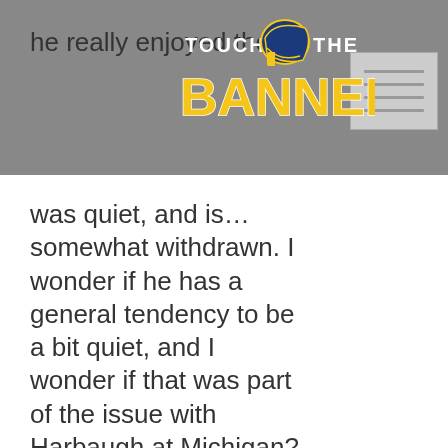[Figure (logo): Touch the Banner website logo with Michigan football helmet, yellow 'BANNER' text, white 'TOUCH' and 'THE' text on dark blue background]
[Figure (photo): Small thumbnail image placeholder in top right corner]
he really enjoyed the [text continues]... was quiet, and is... somewhat withdrawn. I wonder if he has a general tendency to be a bit quiet, and I wonder if that was part of the issue with Harbaugh at Michigan? We can't know until someone speaks up, and my guess is neither will.
You need to login in order to vote
[Figure (logo): infolinks label in dark blue rounded rectangle]
[Figure (screenshot): Amazon.com advertisement banner showing Amazon logo, headline 'Amazon.com: Online Shopping for Everyone', subtext 'Shop at Amazon. Free Shipping with Prime. Best Deals Ever!', url 'amazon.com', close button X, and purple play button circle]